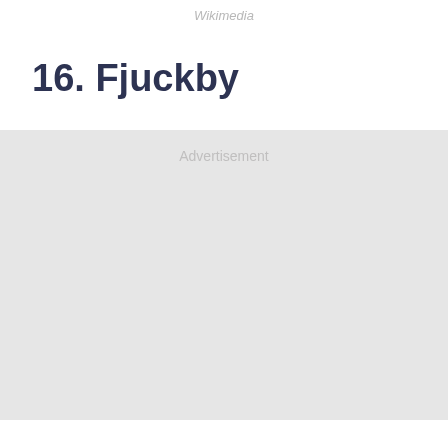Wikimedia
16. Fjuckby
[Figure (other): Advertisement placeholder block with light gray background]